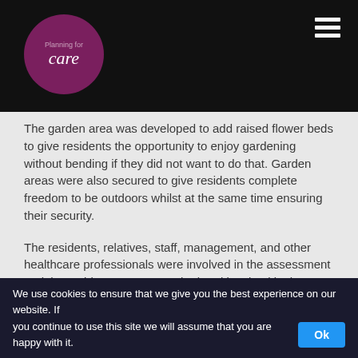Planning for care
The garden area was developed to add raised flower beds to give residents the opportunity to enjoy gardening without bending if they did not want to do that. Garden areas were also secured to give residents complete freedom to be outdoors whilst at the same time ensuring their security.
The residents, relatives, staff, management, and other healthcare professionals were involved in the assessment and the residents were consulted and involved in the decision making process. Everyone has learned from and enjoyed the whole experience.
The changes which can be made are in many cases, small and inexpensive, and relatively easy to make. Collectively they help the residents to maintain their independence and
We use cookies to ensure that we give you the best experience on our website. If you continue to use this site we will assume that you are happy with it. Ok